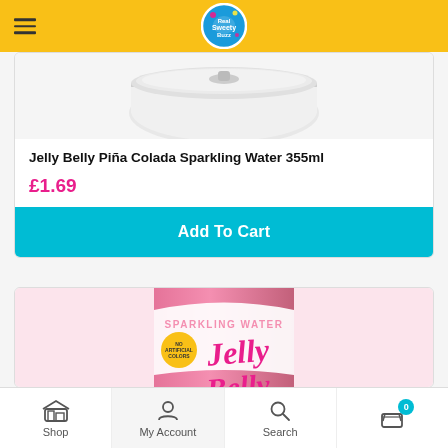Real Sweety Buzz shop header with hamburger menu and logo
[Figure (photo): Jelly Belly Piña Colada Sparkling Water 355ml can product image (white/gold can top view, partially visible)]
Jelly Belly Piña Colada Sparkling Water 355ml
£1.69
Add To Cart
[Figure (photo): Jelly Belly Sparkling Water pink can with 'SPARKLING WATER' text and Jelly Belly logo in pink cursive, partially visible]
Shop | My Account | Search | Cart (0)